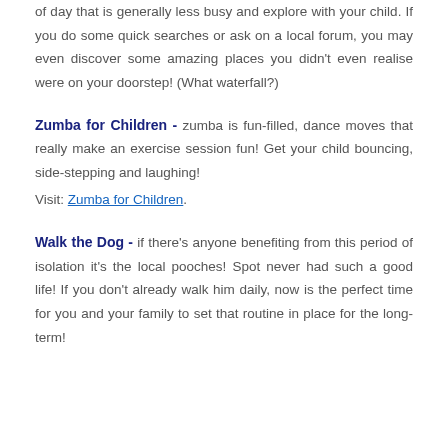of day that is generally less busy and explore with your child. If you do some quick searches or ask on a local forum, you may even discover some amazing places you didn't even realise were on your doorstep! (What waterfall?)
Zumba for Children - zumba is fun-filled, dance moves that really make an exercise session fun! Get your child bouncing, side-stepping and laughing!
Visit: Zumba for Children.
Walk the Dog - if there's anyone benefiting from this period of isolation it's the local pooches! Spot never had such a good life! If you don't already walk him daily, now is the perfect time for you and your family to set that routine in place for the long-term!